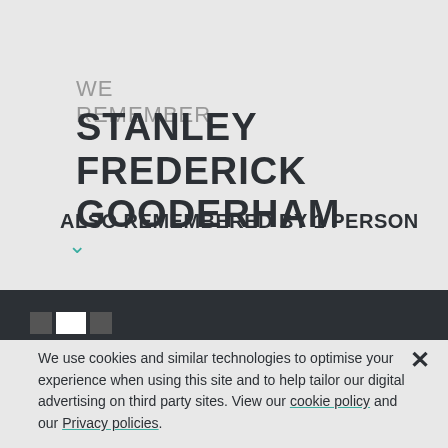WE REMEMBER STANLEY FREDERICK GOODERHAM
ALSO REMEMBERED BY 1 PERSON
We use cookies and similar technologies to optimise your experience when using this site and to help tailor our digital advertising on third party sites. View our cookie policy and our Privacy policies.